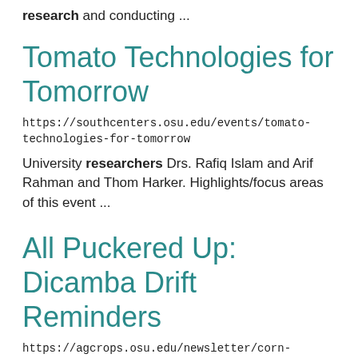research and conducting ...
Tomato Technologies for Tomorrow
https://southcenters.osu.edu/events/tomato-technologies-for-tomorrow
University researchers Drs. Rafiq Islam and Arif Rahman and Thom Harker. Highlights/focus areas of this event ...
All Puckered Up: Dicamba Drift Reminders
https://agcrops.osu.edu/newsletter/corn-newsletter/2022-25/all-puckered-dicamba-drift-reminders
herbicide active ingredient. According to